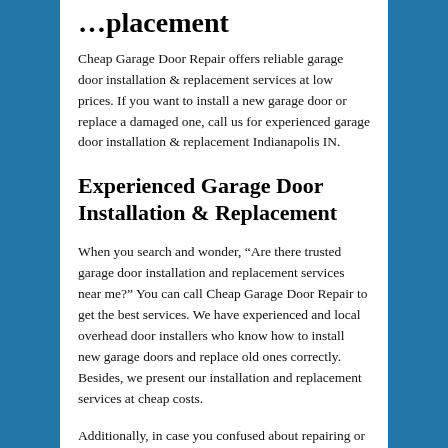…placement
Cheap Garage Door Repair offers reliable garage door installation & replacement services at low prices. If you want to install a new garage door or replace a damaged one, call us for experienced garage door installation & replacement Indianapolis IN.
Experienced Garage Door Installation & Replacement
When you search and wonder, “Are there trusted garage door installation and replacement services near me?” You can call Cheap Garage Door Repair to get the best services. We have experienced and local overhead door installers who know how to install new garage doors and replace old ones correctly. Besides, we present our installation and replacement services at cheap costs.
Additionally, in case you confused about repairing or replacing your old garage door, our professionals in Indianapolis IN, can come to check your overhead door and provide you with the service that you need. Also, we are ready to help you to choose a suitable garage door for your garage. Even if you look for garage door opener installation, garage door panel